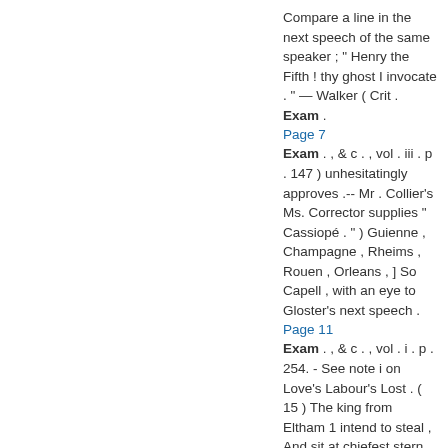Compare a line in the next speech of the same speaker ; " Henry the Fifth ! thy ghost I invocate . " — Walker ( Crit . Exam .
Page 7
Exam . , & c . , vol . iii . p . 147 ) unhesitatingly approves .-- Mr . Collier's Ms. Corrector supplies " Cassiopé . " ) Guienne , Champagne , Rheims , Rouen , Orleans , ] So Capell , with an eye to Gloster's next speech .
Page 11
Exam . , & c . , vol . i . p . 254. - See note i on Love's Labour's Lost . ( 15 ) The king from Eltham 1 intend to steal , And sit at chieftst stern